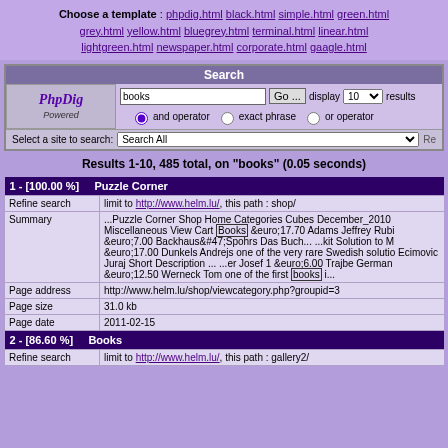Choose a template : phpdig.html black.html simple.html green.html grey.html yellow.html bluegrey.html terminal.html linear.html lightgreen.html newspaper.html corporate.html gaagle.html
[Figure (screenshot): PhpDig Powered search interface with search box containing 'books', Go button, display 10 dropdown, and operator radio buttons]
Results 1-10, 485 total, on "books" (0.05 seconds)
| 1 - [100.00 %] | Puzzle Corner |
| --- | --- |
| Refine search | limit to http://www.helm.lu/, this path : shop/ |
| Summary | ...Puzzle Corner Shop Home Categories Cubes December_2010 Miscellaneous View Cart Books &euro;17.70 Adams Jeffrey Rubi &euro;7.00 Backhaus&#47;Spohrs Das Buch... ...kit Solution to M &euro;17.00 Dunkels Andrejs one of the very rare Swedish solutio Ecimovic Juraj Short Description ... ...er Josef 1 &euro;6.00 Trajbe German &euro;12.50 Werneck Tom one of the first books i... |
| Page address | http://www.helm.lu/shop/viewcategory.php?groupid=3 |
| Page size | 31.0 kb |
| Page date | 2011-02-15 |
| 2 - [86.60 %] | Books |
| Refine search | limit to http://www.helm.lu/, this path : gallery2/ |